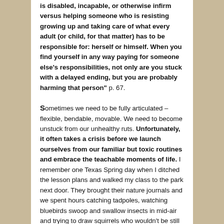is disabled, incapable, or otherwise infirm versus helping someone who is resisting growing up and taking care of what every adult (or child, for that matter) has to be responsible for: herself or himself. When you find yourself in any way paying for someone else's responsibilities, not only are you stuck with a delayed ending, but you are probably harming that person" p. 67.
Sometimes we need to be fully articulated – flexible, bendable, movable. We need to become unstuck from our unhealthy ruts. Unfortunately, it often takes a crisis before we launch ourselves from our familiar but toxic routines and embrace the teachable moments of life. I remember one Texas Spring day when I ditched the lesson plans and walked my class to the park next door. They brought their nature journals and we spent hours catching tadpoles, watching bluebirds swoop and swallow insects in mid-air and trying to draw squirrels who wouldn't be still long enough for portraiture. It was wonderful! Many conversations and future journal entries came from that one bit of teacher flexibility. It was a